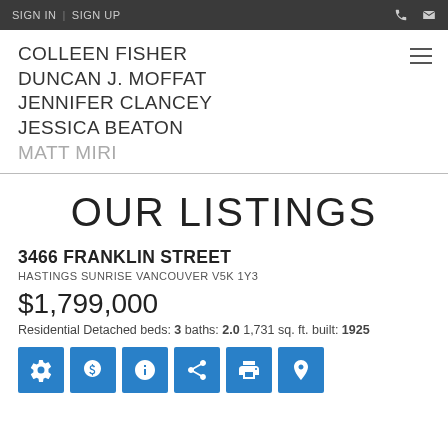SIGN IN | SIGN UP
COLLEEN FISHER
DUNCAN J. MOFFAT
JENNIFER CLANCEY
JESSICA BEATON
MATT MIRI
OUR LISTINGS
3466 FRANKLIN STREET
HASTINGS SUNRISE VANCOUVER V5K 1Y3
$1,799,000
Residential Detached beds: 3 baths: 2.0 1,731 sq. ft. built: 1925